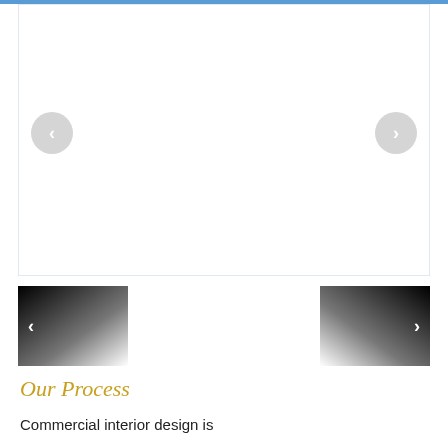[Figure (screenshot): Website carousel slider area with white background and light blue border, showing left and right navigation circle buttons with chevron arrows]
[Figure (screenshot): Thumbnail strip with two dark gradient thumbnail images showing left and right navigation chevron arrows]
Our Process
Commercial interior design is